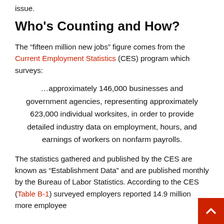issue.
Who’s Counting and How?
The “fifteen million new jobs” figure comes from the Current Employment Statistics (CES) program which surveys:
…approximately 146,000 businesses and government agencies, representing approximately 623,000 individual worksites, in order to provide detailed industry data on employment, hours, and earnings of workers on nonfarm payrolls.
The statistics gathered and published by the CES are known as “Establishment Data” and are published monthly by the Bureau of Labor Statistics. According to the CES (Table B-1) surveyed employers reported 14.9 million more employee…